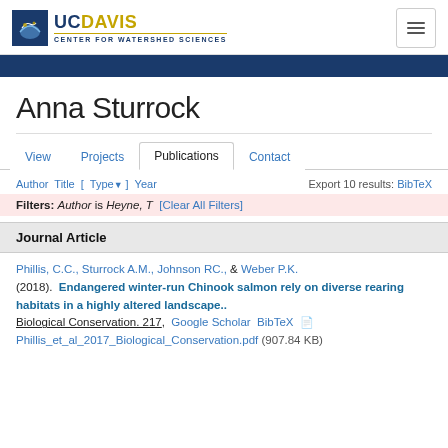UC Davis Center for Watershed Sciences
Anna Sturrock
View | Projects | Publications | Contact
Author Title [ Type ] Year   Export 10 results: BibTeX
Filters: Author is Heyne, T [Clear All Filters]
Journal Article
Phillis, C.C., Sturrock A.M., Johnson RC., & Weber P.K. (2018). Endangered winter-run Chinook salmon rely on diverse rearing habitats in a highly altered landscape.. Biological Conservation. 217, Google Scholar BibTeX Phillis_et_al_2017_Biological_Conservation.pdf (907.84 KB)